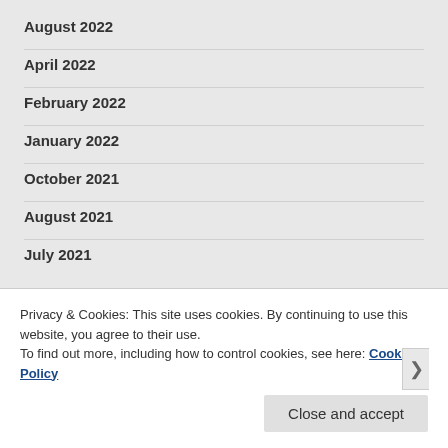August 2022
April 2022
February 2022
January 2022
October 2021
August 2021
July 2021
Privacy & Cookies: This site uses cookies. By continuing to use this website, you agree to their use.
To find out more, including how to control cookies, see here: Cookie Policy
Close and accept